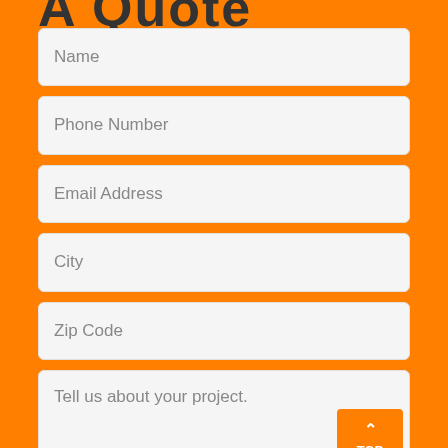A Quote
Name
Phone Number
Email Address
City
Zip Code
Tell us about your project.